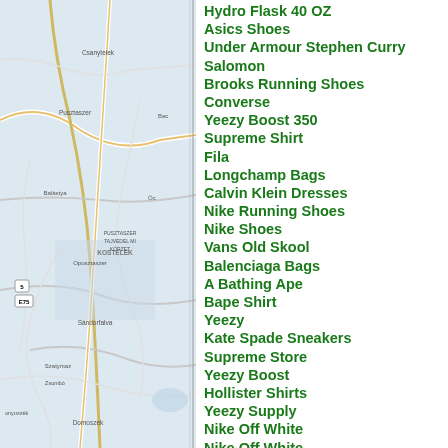[Figure (map): Street map showing Hungarian towns including Csanytelek, Pusztaszer, Balastya, Sandorfalva, Szatymaz, Zsombo, Domoszek, Kostelek area with road networks]
Hydro Flask 40 OZ
Asics Shoes
Under Armour Stephen Curry
Salomon
Brooks Running Shoes
Converse
Yeezy Boost 350
Supreme Shirt
Fila
Longchamp Bags
Calvin Klein Dresses
Nike Running Shoes
Nike Shoes
Vans Old Skool
Balenciaga Bags
A Bathing Ape
Bape Shirt
Yeezy
Kate Spade Sneakers
Supreme Store
Yeezy Boost
Hollister Shirts
Yeezy Supply
Nike Off White
Nike Off White
Skechers Shoes
Adidas Ultra Boost
Christian Louboutin Boots